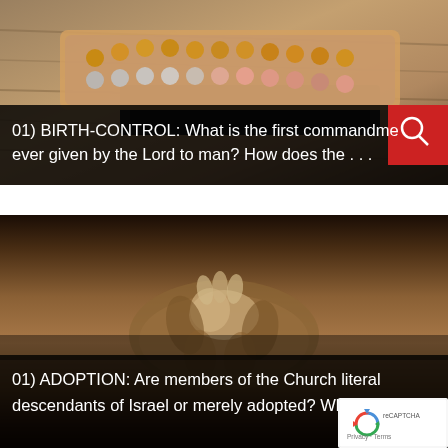[Figure (photo): Birth control pill blister pack on wooden surface, with red search button overlay in top-right corner of text area]
01) BIRTH-CONTROL: What is the first commandme... ever given by the Lord to man? How does the . . .
[Figure (photo): Sepia-toned photo of adult hands holding a small baby's hand, with reCAPTCHA badge in bottom-right corner]
01) ADOPTION: Are members of the Church literal descendants of Israel or merely adopted? Why is it...
Privacy · Terms